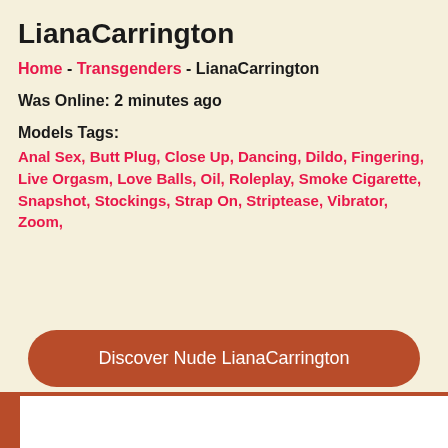LianaCarrington
Home - Transgenders - LianaCarrington
Was Online: 2 minutes ago
Models Tags: Anal Sex, Butt Plug, Close Up, Dancing, Dildo, Fingering, Live Orgasm, Love Balls, Oil, Roleplay, Smoke Cigarette, Snapshot, Stockings, Strap On, Striptease, Vibrator, Zoom,
Discover Nude LianaCarrington